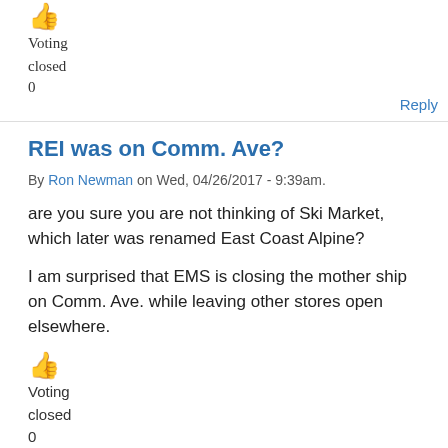[Figure (other): Thumbs up emoji icon (orange)]
Voting
closed
0
Reply
REI was on Comm. Ave?
By Ron Newman on Wed, 04/26/2017 - 9:39am.
are you sure you are not thinking of Ski Market, which later was renamed East Coast Alpine?
I am surprised that EMS is closing the mother ship on Comm. Ave. while leaving other stores open elsewhere.
[Figure (other): Thumbs up emoji icon (orange)]
Voting
closed
0
Reply